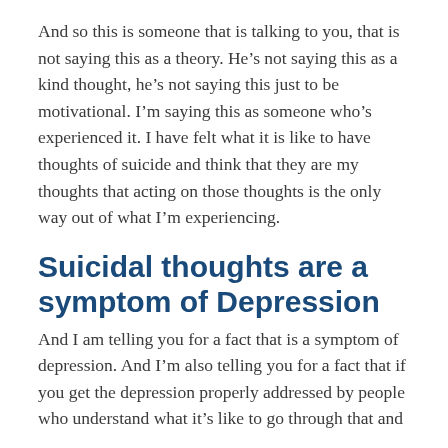And so this is someone that is talking to you, that is not saying this as a theory. He’s not saying this as a kind thought, he’s not saying this just to be motivational. I’m saying this as someone who’s experienced it. I have felt what it is like to have thoughts of suicide and think that they are my thoughts that acting on those thoughts is the only way out of what I’m experiencing.
Suicidal thoughts are a symptom of Depression
And I am telling you for a fact that is a symptom of depression. And I’m also telling you for a fact that if you get the depression properly addressed by people who understand what it’s like to go through that and